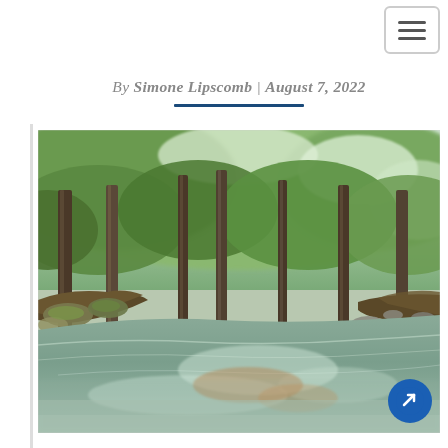Navigation menu button (hamburger icon)
By Simone Lipscomb | August 7, 2022
[Figure (photo): A peaceful forest stream with clear, shallow water flowing over rocks. Tall deciduous trees with lush green foliage line both banks. Sunlight filters through the canopy. The water shows slight motion blur suggesting a long exposure photograph. Taken from a low angle near the water surface.]